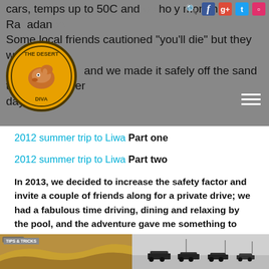cars, temps up to 50C and one holy month of Ramadan. Some local friends cautioned "you'll die" but they were wrong and we made it safely off the sand to drive another day.
2012 summer trip to Liwa Part one
2012 summer trip to Liwa Part two
In 2013, we decided to increase the safety factor and invite a couple of friends along for a private drive; we had a fabulous time driving, dining and relaxing by the pool, and the adventure gave me something to write about in OutdoorUAE magazine in October!
[Figure (photo): Two photos side by side at the bottom: left shows sandy desert dunes, right shows silhouettes of cars/vehicles in a grey desert landscape]